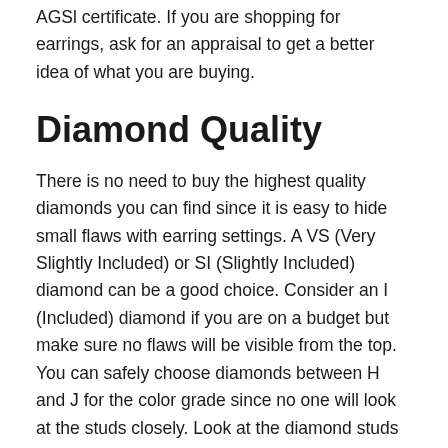AGSl certificate. If you are shopping for earrings, ask for an appraisal to get a better idea of what you are buying.
Diamond Quality
There is no need to buy the highest quality diamonds you can find since it is easy to hide small flaws with earring settings. A VS (Very Slightly Included) or SI (Slightly Included) diamond can be a good choice. Consider an I (Included) diamond if you are on a budget but make sure no flaws will be visible from the top. You can safely choose diamonds between H and J for the color grade since no one will look at the studs closely. Look at the diamond studs very closely to make sure there are no noticeable flaws.
Diamond Carat And Cut